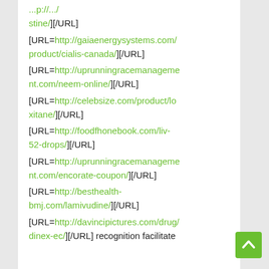[URL=...stine/][/URL] [URL=http://gaiaenergysystems.com/product/cialis-canada/][/URL] [URL=http://uprunningracemanagement.com/neem-online/][/URL] [URL=http://celebsize.com/product/loxitane/][/URL] [URL=http://foodfhonebook.com/liv-52-drops/][/URL] [URL=http://uprunningracemanagement.com/encorate-coupon/][/URL] [URL=http://besthealth-bmj.com/lamivudine/][/URL] [URL=http://davincipictures.com/drug/dinex-ec/][/URL] recognition facilitate